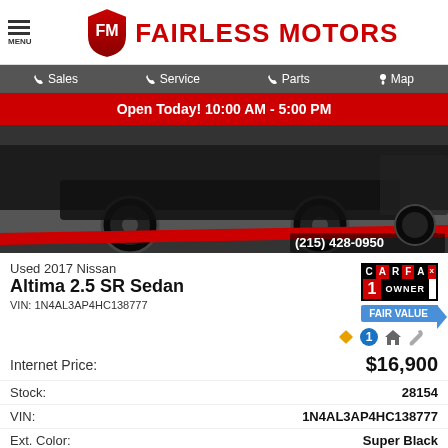FAIRLESS MOTORS — MENU | Sales | Service | Parts | Map
Open Today! 10:00 AM - 5:00 PM
[Figure (photo): Photo of black Nissan vehicles lower body and wheels with red stripe overlay and phone number (215) 428-0950]
Used 2017 Nissan Altima 2.5 SR Sedan
VIN: 1N4AL3AP4HC138777
Internet Price: $16,900
| Field | Value |
| --- | --- |
| Stock: | 28154 |
| VIN: | 1N4AL3AP4HC138777 |
| Ext. Color: | Super Black |